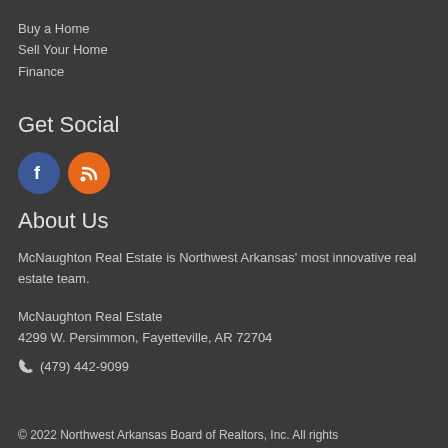Buy a Home
Sell Your Home
Finance
Get Social
[Figure (illustration): Facebook circular blue icon and RSS circular orange icon]
About Us
McNaughton Real Estate is Northwest Arkansas' most innovative real estate team.
McNaughton Real Estate
4299 W. Persimmon, Fayetteville, AR 72704
(479) 442-9099
© 2022 Northwest Arkansas Board of Realtors, Inc. All rights